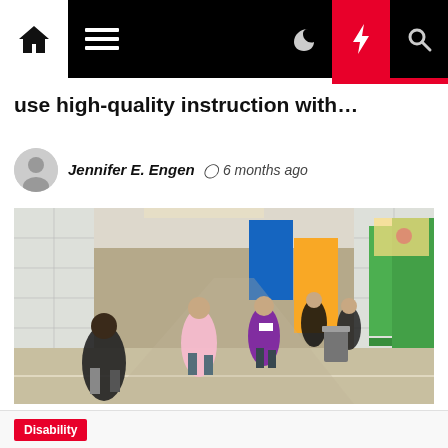Navigation bar with home, menu, dark mode, breaking news, and search icons
use high-quality instruction with…
Jennifer E. Engen  🕐 6 months ago
[Figure (photo): Children walking down a school hallway with green doors, white tile walls, and colorful bulletin boards]
Disability